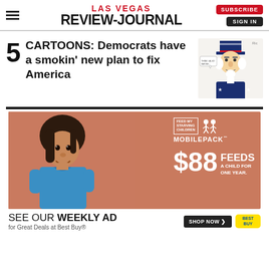LAS VEGAS REVIEW-JOURNAL | SUBSCRIBE | SIGN IN
5 CARTOONS: Democrats have a smokin' new plan to fix America
[Figure (illustration): Uncle Sam cartoon illustration for article about Democrats plan]
[Figure (photo): Feed My Starving Children MobilePack advertisement. Shows a young child. Text: $88 FEEDS A CHILD FOR ONE YEAR.]
SEE OUR WEEKLY AD for Great Deals at Best Buy®